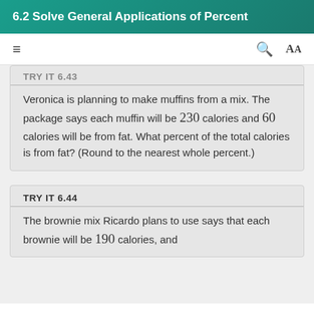6.2 Solve General Applications of Percent
TRY IT 6.43
Veronica is planning to make muffins from a mix. The package says each muffin will be 230 calories and 60 calories will be from fat. What percent of the total calories is from fat? (Round to the nearest whole percent.)
TRY IT 6.44
The brownie mix Ricardo plans to use says that each brownie will be 190 calories, and